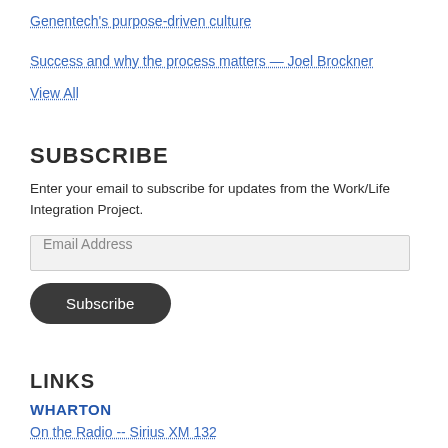Genentech's purpose-driven culture
Success and why the process matters — Joel Brockner
View All
SUBSCRIBE
Enter your email to subscribe for updates from the Work/Life Integration Project.
Email Address
Subscribe
LINKS
WHARTON
On the Radio -- Sirius XM 132
Podcasts